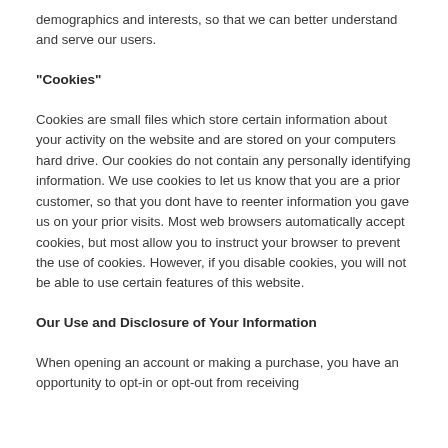demographics and interests, so that we can better understand and serve our users.
"Cookies"
Cookies are small files which store certain information about your activity on the website and are stored on your computers hard drive. Our cookies do not contain any personally identifying information. We use cookies to let us know that you are a prior customer, so that you dont have to reenter information you gave us on your prior visits. Most web browsers automatically accept cookies, but most allow you to instruct your browser to prevent the use of cookies. However, if you disable cookies, you will not be able to use certain features of this website.
Our Use and Disclosure of Your Information
When opening an account or making a purchase, you have an opportunity to opt-in or opt-out from receiving